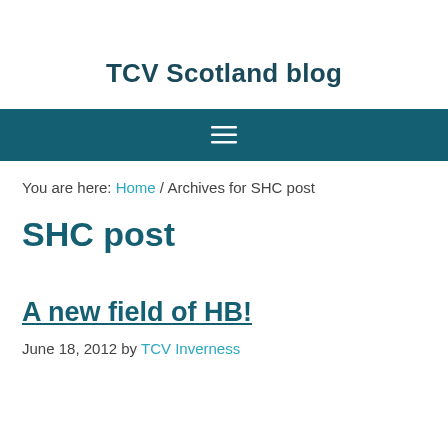TCV Scotland blog
[Figure (other): Navigation bar with hamburger menu icon on teal background]
You are here: Home / Archives for SHC post
SHC post
A new field of HB!
June 18, 2012 by TCV Inverness